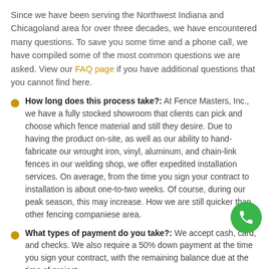Since we have been serving the Northwest Indiana and Chicagoland area for over three decades, we have encountered many questions. To save you some time and a phone call, we have compiled some of the most common questions we are asked. View our FAQ page if you have additional questions that you cannot find here.
How long does this process take?: At Fence Masters, Inc., we have a fully stocked showroom that clients can pick and choose which fence material and still they desire. Due to having the product on-site, as well as our ability to hand-fabricate our wrought iron, vinyl, aluminum, and chain-link fences in our welding shop, we offer expedited installation services. On average, from the time you sign your contract to installation is about one-to-two weeks. Of course, during our peak season, this may increase. However, we are still quicker than other fencing companies in the area.
What types of payment do you take?: We accept cash, card, and checks. We also require a 50% down payment at the time you sign your contract, with the remaining balance due at the time of project